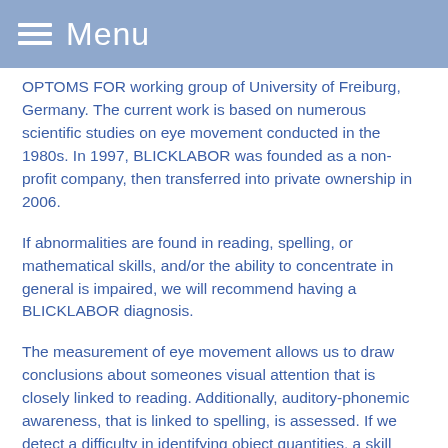Menu
OPTOMS FOR working group of University of Freiburg, Germany. The current work is based on numerous scientific studies on eye movement conducted in the 1980s. In 1997, BLICKLABOR was founded as a non-profit company, then transferred into private ownership in 2006.
If abnormalities are found in reading, spelling, or mathematical skills, and/or the ability to concentrate in general is impaired, we will recommend having a BLICKLABOR diagnosis.
The measurement of eye movement allows us to draw conclusions about someones visual attention that is closely linked to reading. Additionally, auditory-phonemic awareness, that is linked to spelling, is assessed. If we detect a difficulty in identifying object quantities, a skill